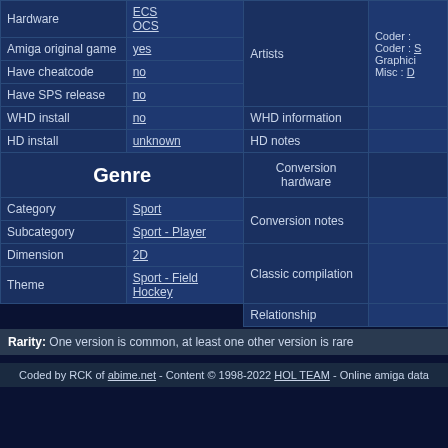| Hardware | ECS / OCS | Artists | Coder : S / Graphici / Misc : D |
| --- | --- | --- | --- |
| Hardware | ECS
OCS | Artists | Coder : 
Coder : S
Graphici
Misc : D |
| Amiga original game | yes |  |  |
| Have cheatcode | no |  |  |
| Have SPS release | no |  |  |
| WHD install | no | WHD information |  |
| HD install | unknown | HD notes |  |
| Genre |  |  |  |
| Category | Sport |  |  |
| Subcategory | Sport - Player |  |  |
| Dimension | 2D |  |  |
| Theme | Sport - Field Hockey | Conversion hardware |  |
|  |  | Conversion notes |  |
|  |  | Classic compilation |  |
|  |  | Relationship |  |
Rarity: One version is common, at least one other version is rare
Coded by RCK of abime.net - Content © 1998-2022 HOL TEAM - Online amiga data